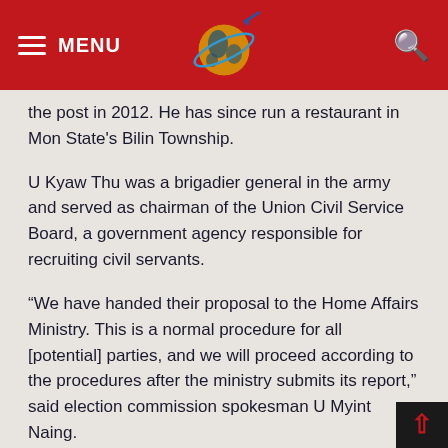MENU [logo] [search]
the post in 2012. He has since run a restaurant in Mon State's Bilin Township.
U Kyaw Thu was a brigadier general in the army and served as chairman of the Union Civil Service Board, a government agency responsible for recruiting civil servants.
“We have handed their proposal to the Home Affairs Ministry. This is a normal procedure for all [potential] parties, and we will proceed according to the procedures after the ministry submits its report,” said election commission spokesman U Myint Naing.
Upon receiving a proposal to establish a political party, both the Home Affairs Ministry and the Labor Ministry’s